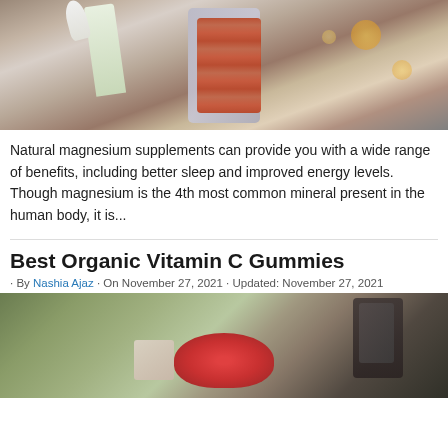[Figure (photo): Hands holding a blister pack of supplement capsules along with a white flower, with bokeh lights in the background]
Natural magnesium supplements can provide you with a wide range of benefits, including better sleep and improved energy levels. Though magnesium is the 4th most common mineral present in the human body, it is...
Best Organic Vitamin C Gummies
· By Nashia Ajaz · On November 27, 2021 · Updated: November 27, 2021
[Figure (photo): Hands holding red gummy vitamins/candy]